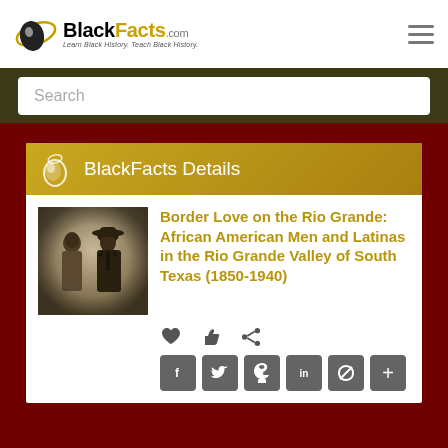[Figure (logo): BlackFacts.com logo with tagline 'Learn Black History. Teach Black History.']
Search
BlackFacts Details
[Figure (photo): Vintage sepia/grayscale photograph of an African American couple — a woman and a man wearing a wide-brim hat — from approximately the early 1900s.]
Border Love on the Rio Grande: African American Men and Latinas in the Rio Grande Valley of South Texas (1850-1940)